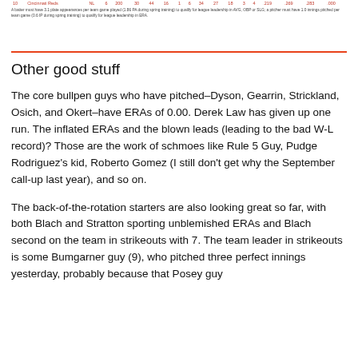| # | Team | LG | G | PA | 30 | H | 1B | 2B | 3B | HR | R | RBI | BB | SO | SB | CS | AVG | OBP | SLG | OPS |
| --- | --- | --- | --- | --- | --- | --- | --- | --- | --- | --- | --- | --- | --- | --- | --- | --- | --- | --- | --- | --- |
| 10 | Cincinnati Reds | NL | 6 | 200 | 30 | 44 | 16 | 1 | 6 | 34 | 27 | 18 | 3 | 4 | .219 | .269 | .283 | .000 |
A batter must have 3.1 plate appearances per team game played (1.86 PA during spring training) to qualify for league leadership in AVG, OBP or SLG; a pitcher must have 1.0 innings pitched per team game (0.6 IP during spring training) to qualify for league leadership in ERA.
Other good stuff
The core bullpen guys who have pitched–Dyson, Gearrin, Strickland, Osich, and Okert–have ERAs of 0.00. Derek Law has given up one run. The inflated ERAs and the blown leads (leading to the bad W-L record)? Those are the work of schmoes like Rule 5 Guy, Pudge Rodriguez's kid, Roberto Gomez (I still don't get why the September call-up last year), and so on.
The back-of-the-rotation starters are also looking great so far, with both Blach and Stratton sporting unblemished ERAs and Blach second on the team in strikeouts with 7. The team leader in strikeouts is some Bumgarner guy (9), who pitched three perfect innings yesterday, probably because that Posey guy